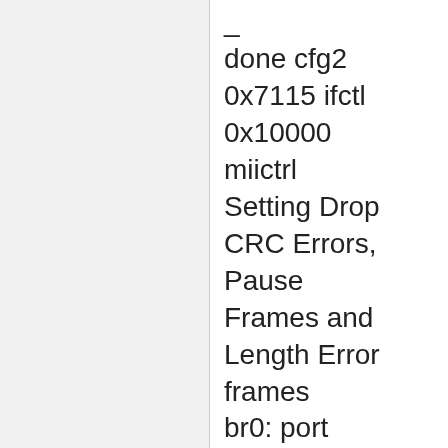done cfg2 0x7115 ifctl 0x10000 miictrl Setting Drop CRC Errors, Pause Frames and Length Error frames br0: port 1(eth0) entering forwarding